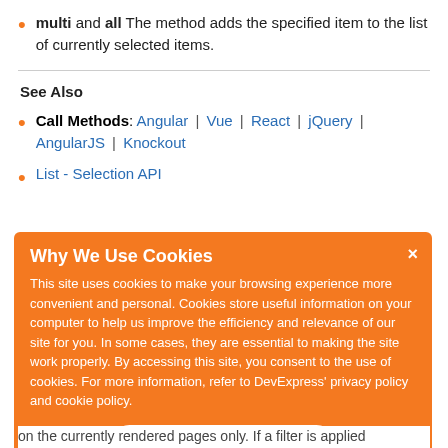multi and all The method adds the specified item to the list of currently selected items.
See Also
Call Methods: Angular | Vue | React | jQuery | AngularJS | Knockout
List - Selection API
Why We Use Cookies
This site uses cookies to make your browsing experience more convenient and personal. Cookies store useful information on your computer to help us improve the efficiency and relevance of our site for you. In some cases, they are essential to making the site work properly. By accessing this site, you consent to the use of cookies. For more information, refer to DevExpress' privacy policy and cookie policy.
I UNDERSTAND
on the currently rendered pages only. If a filter is applied